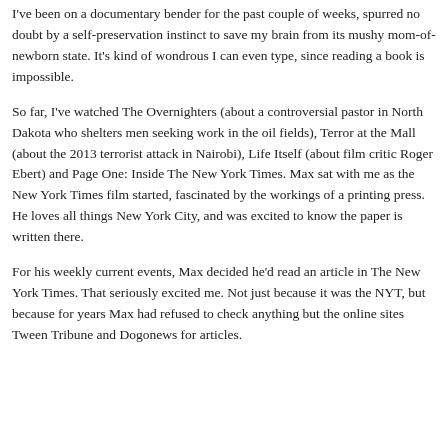I've been on a documentary bender for the past couple of weeks, spurred no doubt by a self-preservation instinct to save my brain from its mushy mom-of-newborn state. It's kind of wondrous I can even type, since reading a book is impossible.
So far, I've watched The Overnighters (about a controversial pastor in North Dakota who shelters men seeking work in the oil fields), Terror at the Mall (about the 2013 terrorist attack in Nairobi), Life Itself (about film critic Roger Ebert) and Page One: Inside The New York Times. Max sat with me as the New York Times film started, fascinated by the workings of a printing press. He loves all things New York City, and was excited to know the paper is written there.
For his weekly current events, Max decided he'd read an article in The New York Times. That seriously excited me. Not just because it was the NYT, but because for years Max had refused to check anything but the online sites Tween Tribune and Dogonews for articles.